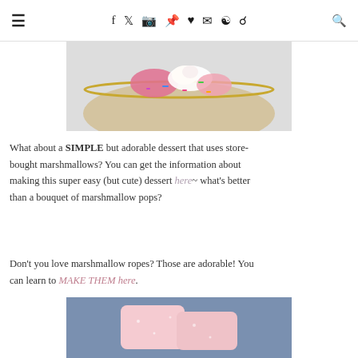≡  f  𝕿  ☷  𝕻  ♥  ✉  ☊  🔍
[Figure (photo): Top portion of a glass bowl containing colorful ice cream or dessert with sprinkles, rimmed with gold, on a white background]
What about a SIMPLE but adorable dessert that uses store-bought marshmallows? You can get the information about making this super easy (but cute) dessert here~ what's better than a bouquet of marshmallow pops?
Don't you love marshmallow ropes? Those are adorable! You can learn to MAKE THEM here.
[Figure (photo): Close-up photo of pink marshmallow ropes dusted with powdered sugar on a blue background]